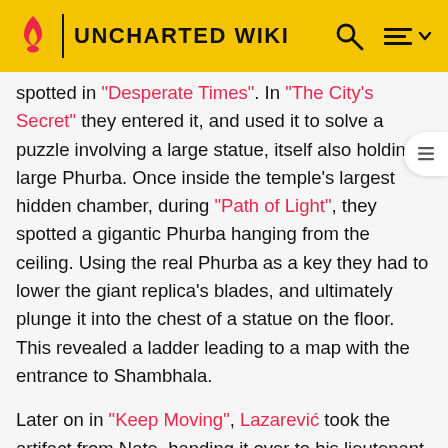UNCHARTED WIKI
spotted in "Desperate Times". In "The City's Secret" they entered it, and used it to solve a puzzle involving a large statue, itself also holding a large Phurba. Once inside the temple's largest hidden chamber, during "Path of Light", they spotted a gigantic Phurba hanging from the ceiling. Using the real Phurba as a key they had to lower the giant replica's blades, and ultimately plunge it into the chest of a statue on the floor. This revealed a ladder leading to a map with the entrance to Shambhala.
Later on in "Keep Moving", Lazarević took the artifact from Nate, handing it over to his lieutenant Draza. Nate took it back from Draza after his defeat in "Tunnel Vision", and subsequently temporarily lost it in the resulting train crash. He reacquired it at the end of "Train-wrecked", as